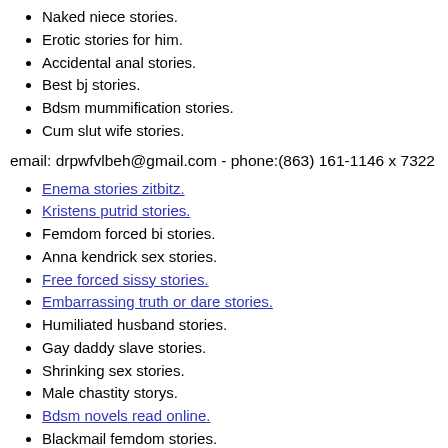Naked niece stories.
Erotic stories for him.
Accidental anal stories.
Best bj stories.
Bdsm mummification stories.
Cum slut wife stories.
email: drpwfvlbeh@gmail.com - phone:(863) 161-1146 x 7322
Enema stories zitbitz.
Kristens putrid stories.
Femdom forced bi stories.
Anna kendrick sex stories.
Free forced sissy stories.
Embarrassing truth or dare stories.
Humiliated husband stories.
Gay daddy slave stories.
Shrinking sex stories.
Male chastity storys.
Bdsm novels read online.
Blackmail femdom stories.
Firefighter sex stories.
Young friends sex stories.
Boy in skirt story.
Cuckold tumblr story.